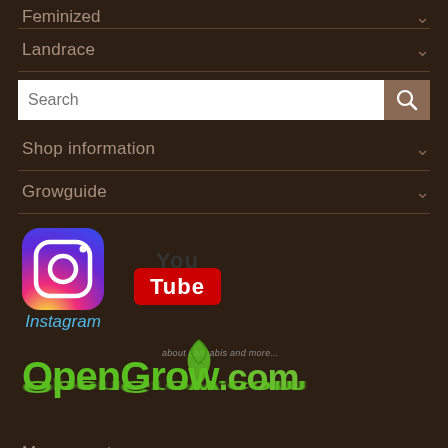Feminized
Landrace
Search
Shop information
Growguide
[Figure (logo): Instagram logo with camera icon and gradient background, with 'Instagram' script text below]
[Figure (logo): YouTube logo with 'You' text above a red Tube box]
[Figure (logo): OpenGrow.com logo in green with tagline 'about cannabis and more...' and a cannabis leaf graphic, plus green reflection below]
My account